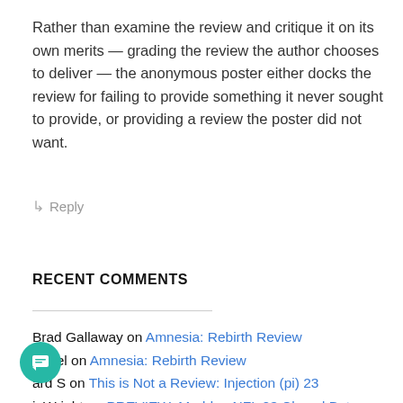Rather than examine the review and critique it on its own merits — grading the review the author chooses to deliver — the anonymous poster either docks the review for failing to provide something it never sought to provide, or providing a review the poster did not want.
↳ Reply
RECENT COMMENTS
Brad Gallaway on Amnesia: Rebirth Review
rafael on Amnesia: Rebirth Review
ard S on This is Not a Review: Injection (pi) 23
inWright on PREVIEW: Madden NFL 23 Closed Beta
Ng Yee Tat on Cook, Serve, Delicious! 3?! Review